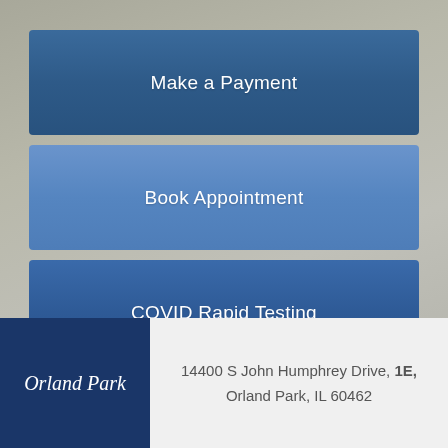Make a Payment
Book Appointment
COVID Rapid Testing
Orland Park
14400 S John Humphrey Drive, 1E, Orland Park, IL 60462